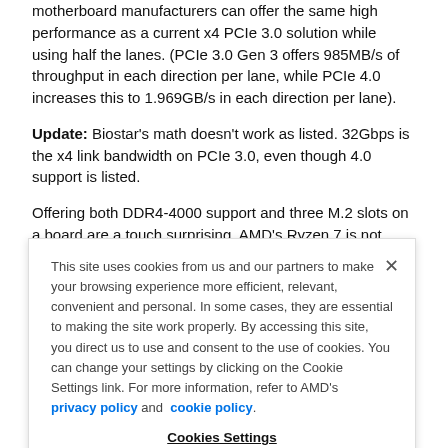motherboard manufacturers can offer the same high performance as a current x4 PCIe 3.0 solution while using half the lanes. (PCIe 3.0 Gen 3 offers 985MB/s of throughput in each direction per lane, while PCIe 4.0 increases this to 1.969GB/s in each direction per lane).
Update: Biostar's math doesn't work as listed. 32Gbps is the x4 link bandwidth on PCIe 3.0, even though 4.0 support is listed.
Offering both DDR4-4000 support and three M.2 slots on a board are a touch surprising. AMD's Ryzen 7 is not terribly fond
This site uses cookies from us and our partners to make your browsing experience more efficient, relevant, convenient and personal. In some cases, they are essential to making the site work properly. By accessing this site, you direct us to use and consent to the use of cookies. You can change your settings by clicking on the Cookie Settings link. For more information, refer to AMD's privacy policy and cookie policy.
Cookies Settings